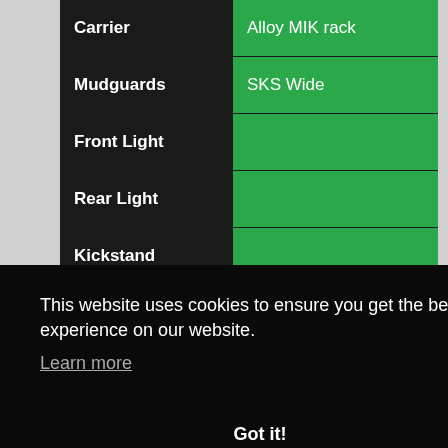| Specification | Value |
| --- | --- |
| Carrier | Alloy MIK rack |
| Mudguards | SKS Wide |
| Front Light |  |
| Rear Light |  |
| Kickstand |  |
| Battery |  |
| Sensor |  |
This website uses cookies to ensure you get the best experience on our website.
Learn more
Got it!